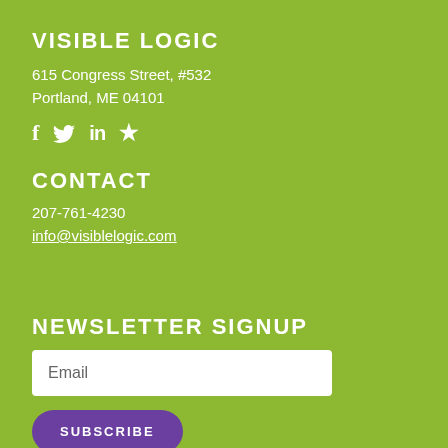VISIBLE LOGIC
615 Congress Street, #532
Portland, ME 04101
[Figure (illustration): Social media icons: Facebook (f), Twitter (bird), LinkedIn (in), star/bookmark icon — all white on green background]
CONTACT
207-761-4230
info@visiblelogic.com
NEWSLETTER SIGNUP
Email
SUBSCRIBE